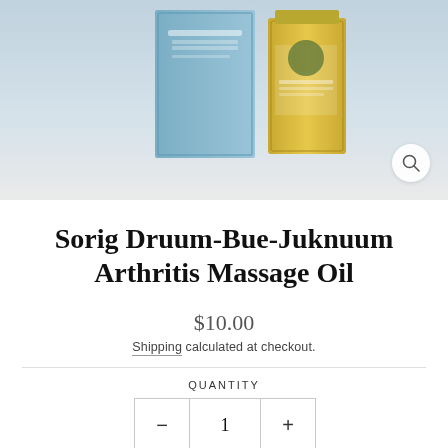[Figure (photo): Product photo showing two bottles of Sorig Druum-Bue-Juknuum Arthritis Massage Oil against a light gray/blue background. One bottle has a blue box packaging and one is a gold glass bottle. A magnifying glass icon is visible in the bottom right corner.]
Sorig Druum-Bue-Juknuum Arthritis Massage Oil
$10.00
Shipping calculated at checkout.
QUANTITY
1
ADD TO CART